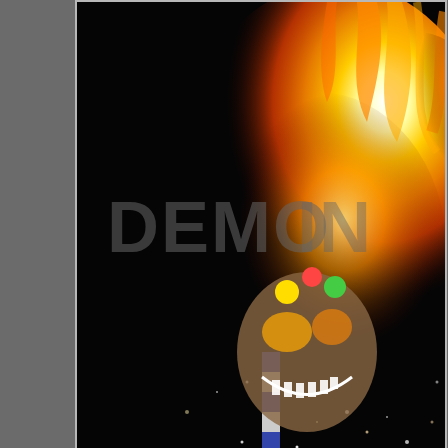[Figure (photo): A dramatic nighttime photograph of the burning of King Carnival in Patras harbor. A carnival figure with a clown/jester face is engulfed in large orange and yellow flames and sparks against a dark background, with fire reflecting on the water below. A watermark reading 'DEMO...IN' is overlaid in large gray letters across the middle of the image.]
The burning of King Carnival in Patras har...
[Figure (photo): A partial nighttime photograph showing a vertical streak of orange/red light (possibly a firework or flame) against a dark purple/magenta smoky background.]